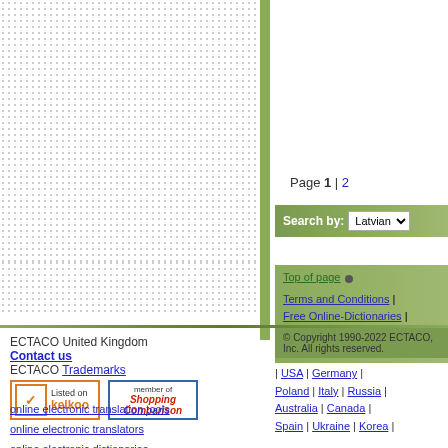Page 1 | 2
Search by: Latvian
Top of page | Terms and Conditions | Free Online-Dictionaries | Forum | News | Support | Your Account | Home
© Copyright 1990-2022 ECTACO, Inc. All rights reserved.
| USA | Germany | Poland | Italy | Russia | Australia | Canada | Spain | Ukraine | Korea |
ECTACO United Kingdom
Contact us
ECTACO Trademarks
[Figure (logo): Listed on kelkoo badge with orange checkmark]
[Figure (logo): Member of Shopping Comparison badge]
online electronic translation tools
online electronic translators
online electronic dictionaries